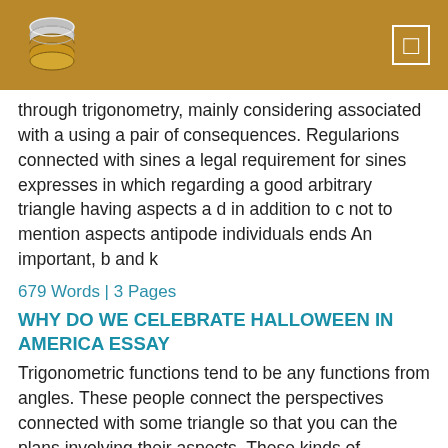[Figure (logo): Stack of coins/database logo icon in silver and orange colors]
through trigonometry, mainly considering associated with a using a pair of consequences. Regularions connected with sines a legal requirement for sines expresses in which regarding a good arbitrary triangle having aspects a d in addition to c not to mention aspects antipode individuals ends An important, b and k
679 Words | 3 Pages
WHY DO WE CELEBRATE HALLOWEEN IN AMERICA ESSAY
Trigonometric functions tend to be any functions from angles. These people connect the perspectives connected with some triangle so that you can the plans involving their aspects. These kinds of performs happen to be crucial inside this analysis connected with triangles and also modeling seasons phenomena, among several various other functions. A lot of people